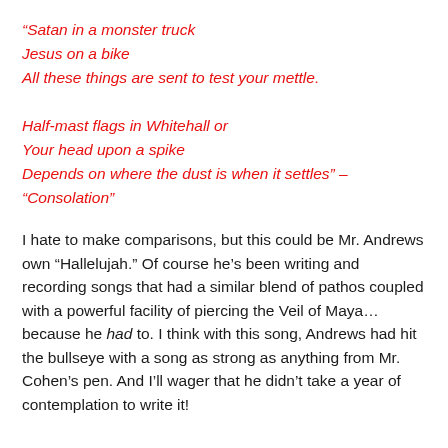“Satan in a monster truck
Jesus on a bike
All these things are sent to test your mettle.

Half-mast flags in Whitehall or
Your head upon a spike
Depends on where the dust is when it settles” –
“Consolation”
I hate to make comparisons, but this could be Mr. Andrews own “Hallelujah.” Of course he’s been writing and recording songs that had a similar blend of pathos coupled with a powerful facility of piercing the Veil of Maya… because he had to. I think with this song, Andrews had hit the bullseye with a song as strong as anything from Mr. Cohen’s pen. And I’ll wager that he didn’t take a year of contemplation to write it!